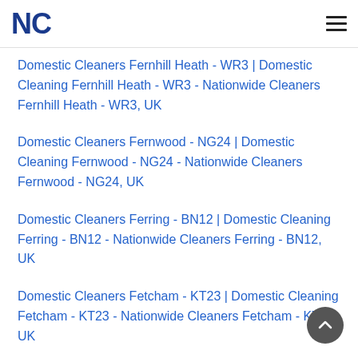NC
Domestic Cleaners Fernhill Heath - WR3 | Domestic Cleaning Fernhill Heath - WR3 - Nationwide Cleaners Fernhill Heath - WR3, UK
Domestic Cleaners Fernwood - NG24 | Domestic Cleaning Fernwood - NG24 - Nationwide Cleaners Fernwood - NG24, UK
Domestic Cleaners Ferring - BN12 | Domestic Cleaning Ferring - BN12 - Nationwide Cleaners Ferring - BN12, UK
Domestic Cleaners Fetcham - KT23 | Domestic Cleaning Fetcham - KT23 - Nationwide Cleaners Fetcham - KT23, UK